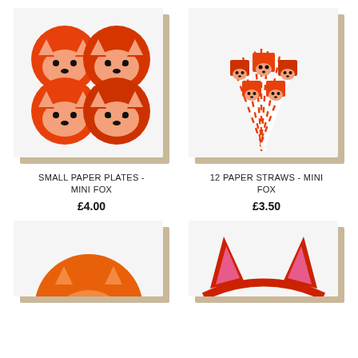[Figure (photo): Four circular fox-face paper plates arranged in a 2x2 grid, orange/red fox faces with black noses and closed eyes]
SMALL PAPER PLATES - MINI FOX
£4.00
[Figure (photo): 12 paper straws with mini fox face toppers, orange and white striped straws arranged in a fan]
12 PAPER STRAWS - MINI FOX
£3.50
[Figure (photo): Partially visible: orange fox balloon/decoration with smaller fox, bottom of product card cut off]
[Figure (photo): Partially visible: red fox ear headband with pink inner ears, bottom of product card cut off]